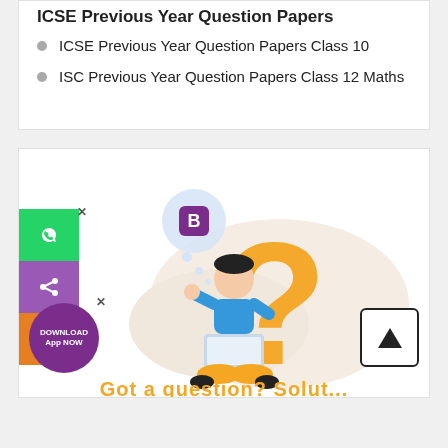ICSE Previous Year Question Papers
ICSE Previous Year Question Papers Class 10
ISC Previous Year Question Papers Class 12 Maths
[Figure (illustration): An illustration of a person sitting cross-legged with a laptop, looking thoughtful, with a large golden question mark behind them and a speech bubble showing a 'B' icon (BYJU's). Social media sidebar buttons (WhatsApp, Share, Phone) on the left edge, a download app badge, and a scroll-to-top button on the right.]